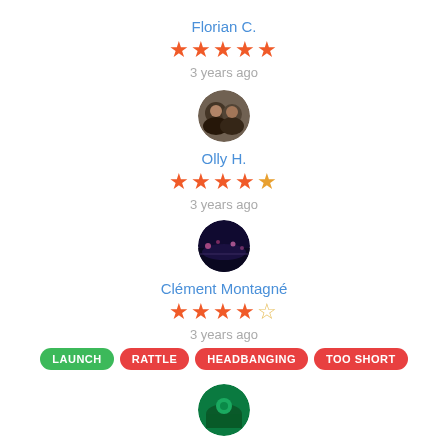Florian C.
★★★★★ (5 stars)
3 years ago
[Figure (photo): Circular avatar photo of Olly H., showing two people]
Olly H.
★★★★ (4 stars)
3 years ago
[Figure (photo): Circular avatar photo of Clément Montagné, showing a cityscape at night]
Clément Montagné
★★★★½ (4.5 stars)
3 years ago
LAUNCH
RATTLE
HEADBANGING
TOO SHORT
[Figure (photo): Circular avatar photo at bottom of page, green/teal themed]